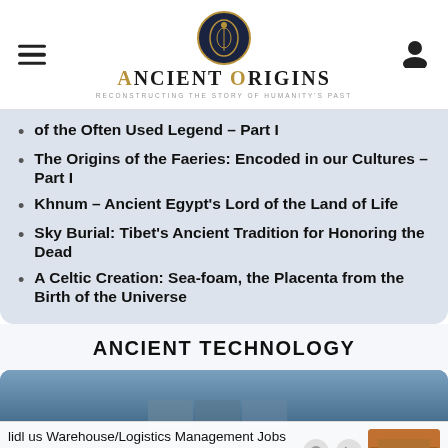Ancient Origins — Reconstructing the Story of Humanity's Past
of the Often Used Legend – Part I
The Origins of the Faeries: Encoded in our Cultures – Part I
Khnum – Ancient Egypt's Lord of the Land of Life
Sky Burial: Tibet's Ancient Tradition for Honoring the Dead
A Celtic Creation: Sea-foam, the Placenta from the Birth of the Universe
ANCIENT TECHNOLOGY
[Figure (screenshot): Image area for Ancient Technology section showing underwater/ancient stone ruins in blue tones, partially obscured by an advertisement overlay for 'lidl us Warehouse/Logistics Management Jobs in Ashburn Apply Now' from jiobble.com]
lidl us Warehouse/Logistics Management Jobs in Ashburn Apply Now jiobble.com